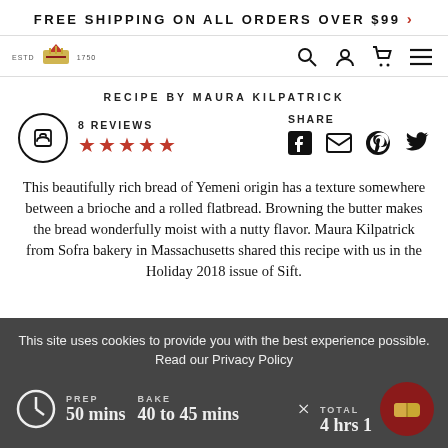FREE SHIPPING ON ALL ORDERS OVER $99 >
[Figure (logo): King Arthur Flour logo with ESTD 1750 text and crown/wheat icon]
RECIPE BY MAURA KILPATRICK
8 REVIEWS ★★★★★
SHARE
This beautifully rich bread of Yemeni origin has a texture somewhere between a brioche and a rolled flatbread. Browning the butter makes the bread wonderfully moist with a nutty flavor. Maura Kilpatrick from Sofra bakery in Massachusetts shared this recipe with us in the Holiday 2018 issue of Sift.
This site uses cookies to provide you with the best experience possible. Read our Privacy Policy
PREP 50 mins  BAKE 40 to 45 mins  TOTAL 4 hrs 15 mins